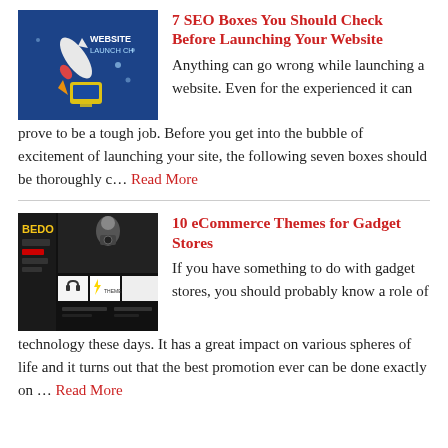[Figure (illustration): Blue background image with rocket, 'WEBSITE LAUNCH CH' text, and a monitor icon with a yellow circle.]
7 SEO Boxes You Should Check Before Launching Your Website
Anything can go wrong while launching a website. Even for the experienced it can prove to be a tough job. Before you get into the bubble of excitement of launching your site, the following seven boxes should be thoroughly c… Read More
[Figure (screenshot): Dark eCommerce website screenshot showing BEDO theme with product images and grid layout.]
10 eCommerce Themes for Gadget Stores
If you have something to do with gadget stores, you should probably know a role of technology these days. It has a great impact on various spheres of life and it turns out that the best promotion ever can be done exactly on … Read More